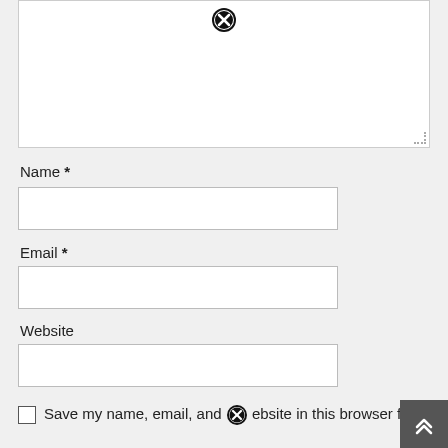[Figure (screenshot): Textarea input box (comment field) with close/error icon at top center and resize handle at bottom right]
Name *
[Figure (screenshot): Name text input field (empty)]
Email *
[Figure (screenshot): Email text input field (empty)]
Website
[Figure (screenshot): Website text input field (empty)]
Save my name, email, and website in this browser for
[Figure (screenshot): Back to top arrow button (dark grey) in bottom right corner with close icon overlay]